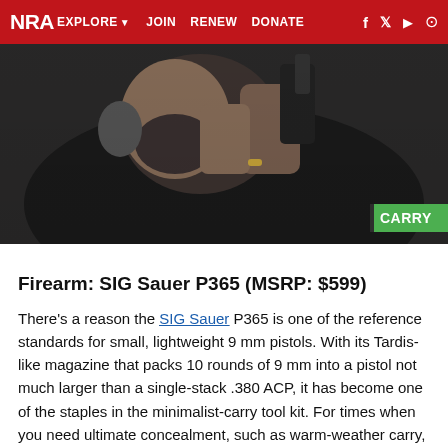NRA EXPLORE ▾   JOIN   RENEW   DONATE   f  𝕏  ▶  ◎
[Figure (photo): Man with beard aiming a pistol, wearing dark jacket, with a green 'CARRY' badge overlay in bottom right corner]
Firearm: SIG Sauer P365 (MSRP: $599)
There's a reason the SIG Sauer P365 is one of the reference standards for small, lightweight 9 mm pistols. With its Tardis-like magazine that packs 10 rounds of 9 mm into a pistol not much larger than a single-stack .380 ACP, it has become one of the staples in the minimalist-carry tool kit. For times when you need ultimate concealment, such as warm-weather carry, it's hard to beat a small, lightweight